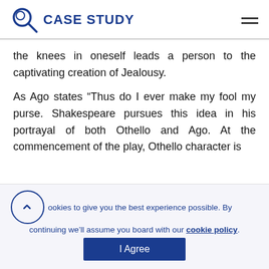CASE STUDY
the knees in oneself leads a person to the captivating creation of Jealousy.
As Ago states “Thus do I ever make my fool my purse. Shakespeare pursues this idea in his portrayal of both Othello and Ago. At the commencement of the play, Othello character is
We use cookies to give you the best experience possible. By continuing we’ll assume you board with our cookie policy. I Agree